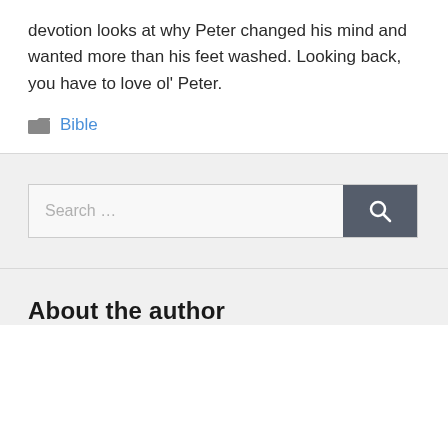devotion looks at why Peter changed his mind and wanted more than his feet washed. Looking back, you have to love ol' Peter.
Bible
[Figure (other): Search input box with placeholder text 'Search ...' and a dark gray search button with magnifying glass icon]
About the author